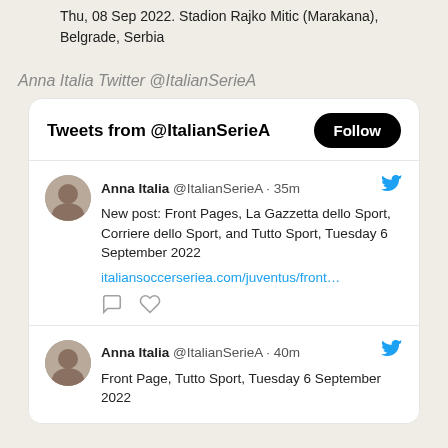Thu, 08 Sep 2022. Stadion Rajko Mitic (Marakana), Belgrade, Serbia
Anna Italia Twitter @ItalianSerieA
[Figure (screenshot): Twitter widget showing tweets from @ItalianSerieA with Follow button and two tweet entries from Anna Italia]
Anna Italia @ItalianSerieA · 35m
New post: Front Pages, La Gazzetta dello Sport, Corriere dello Sport, and Tutto Sport, Tuesday 6 September 2022
italiansoccerseriea.com/juventus/front…
Anna Italia @ItalianSerieA · 40m
Front Page, Tutto Sport, Tuesday 6 September 2022